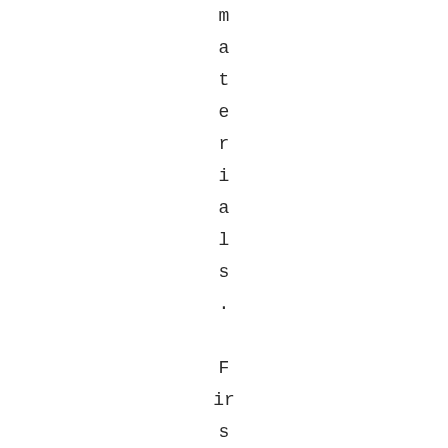materials. First of all, you can vi